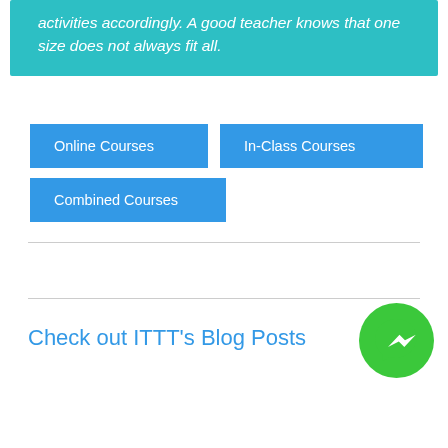activities accordingly. A good teacher knows that one size does not always fit all.
Online Courses
In-Class Courses
Combined Courses
Check out ITTT's Blog Posts
[Figure (logo): Green circular Facebook Messenger logo with white lightning bolt checkmark icon]